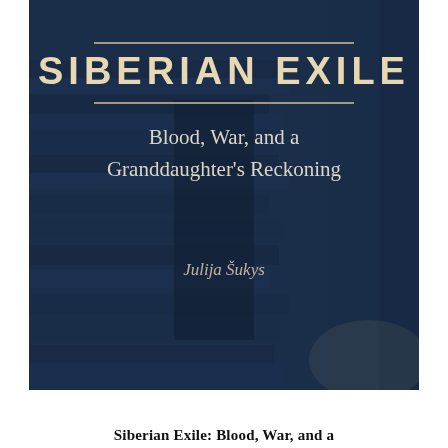[Figure (illustration): Book cover image for 'Siberian Exile: Blood, War, and a Granddaughter's Reckoning' by Julija Šukys. Dark blue-toned photograph of a person standing in a doorway of a log or stone structure. The title 'SIBERIAN EXILE' appears in large uppercase serif/sans letters with decorative rules above and below. Subtitle 'Blood, War, and a Granddaughter's Reckoning' appears below in white serif text. Author name 'Julija Šukys' appears in italic serif below that.]
Siberian Exile: Blood, War, and a